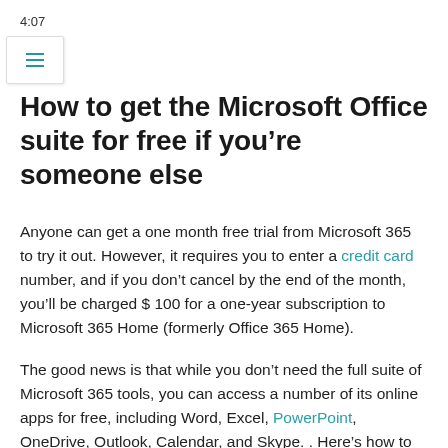4:07
How to get the Microsoft Office suite for free if you’re someone else
Anyone can get a one month free trial from Microsoft 365 to try it out. However, it requires you to enter a credit card number, and if you don’t cancel by the end of the month, you’ll be charged $ 100 for a one-year subscription to Microsoft 365 Home (formerly Office 365 Home).
The good news is that while you don’t need the full suite of Microsoft 365 tools, you can access a number of its online apps for free, including Word, Excel, PowerPoint, OneDrive, Outlook, Calendar, and Skype. . Here’s how to get them: